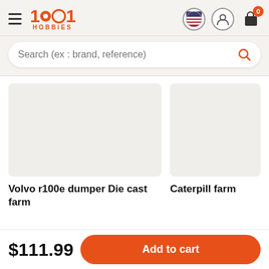[Figure (logo): 1001 Hobbies logo with orange text and stylized numbers]
Search (ex : brand, reference)
Volvo r100e dumper Die cast farm
Caterpill farm
$111.99
Add to cart